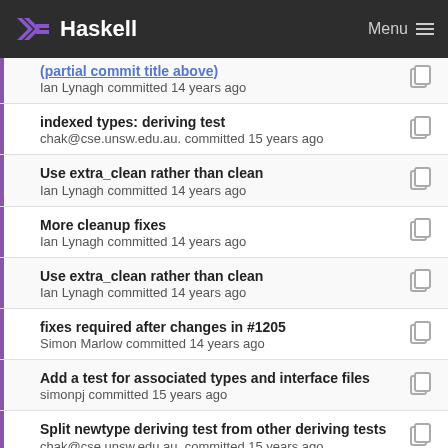Haskell  Menu
indexed types: deriving test
chak@cse.unsw.edu.au. committed 15 years ago
Use extra_clean rather than clean
Ian Lynagh committed 14 years ago
More cleanup fixes
Ian Lynagh committed 14 years ago
Use extra_clean rather than clean
Ian Lynagh committed 14 years ago
fixes required after changes in #1205
Simon Marlow committed 14 years ago
Add a test for associated types and interface files
simonpj committed 15 years ago
Split newtype deriving test from other deriving tests
chak@cse.unsw.edu.au. committed 15 years ago